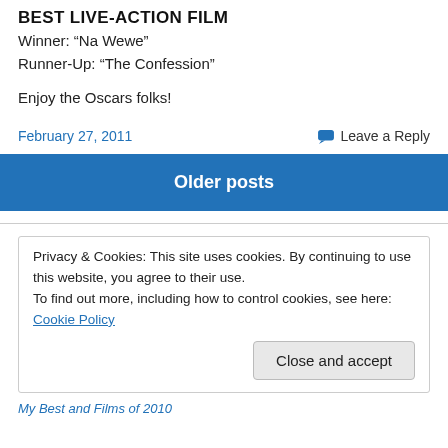BEST LIVE-ACTION FILM
Winner: “Na Wewe”
Runner-Up: “The Confession”
Enjoy the Oscars folks!
February 27, 2011   Leave a Reply
Older posts
Privacy & Cookies: This site uses cookies. By continuing to use this website, you agree to their use. To find out more, including how to control cookies, see here: Cookie Policy
Close and accept
My Best and Films of 2010